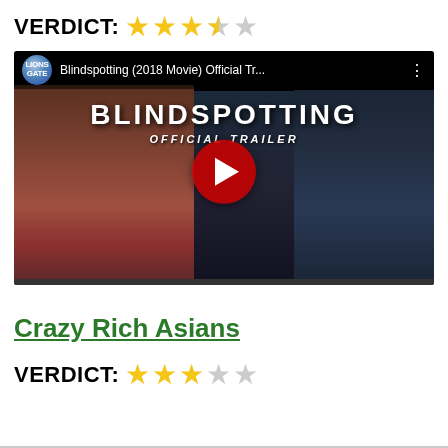VERDICT: ★★★½☆ (3.5 out of 5 stars)
[Figure (screenshot): YouTube video thumbnail for Blindspotting (2018 Movie) Official Trailer, showing two men standing side by side at night, one wearing an Oakland USA sweatshirt. A red YouTube play button is in the center. The Lionsgate channel icon and video title are shown in a top bar.]
Crazy Rich Asians
VERDICT: ★★★☆☆ (3 out of 5 stars)